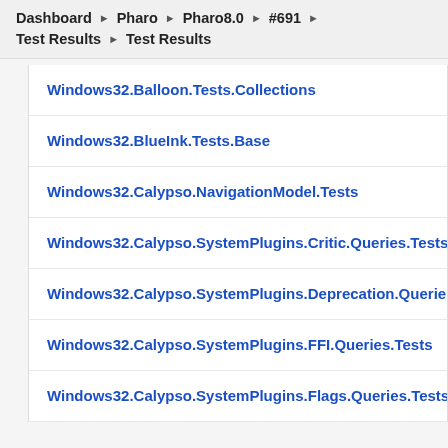Dashboard ▶ Pharo ▶ Pharo8.0 ▶ #691 ▶
Test Results ▶ Test Results
Windows32.Balloon.Tests.Collections
Windows32.BlueInk.Tests.Base
Windows32.Calypso.NavigationModel.Tests
Windows32.Calypso.SystemPlugins.Critic.Queries.Tests
Windows32.Calypso.SystemPlugins.Deprecation.Queries.T
Windows32.Calypso.SystemPlugins.FFI.Queries.Tests
Windows32.Calypso.SystemPlugins.Flags.Queries.Tests